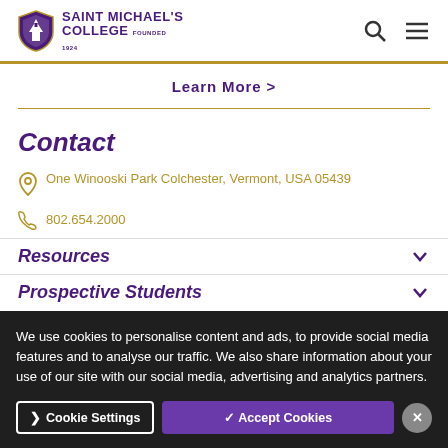Saint Michael's College Founded 1924
Learn More >
Contact
One Winooski Park Colchester, Vermont, USA 05439
802.654.2000
Resources
Prospective Students
We use cookies to personalise content and ads, to provide social media features and to analyse our traffic. We also share information about your use of our site with our social media, advertising and analytics partners.
Cookie Settings
✓ Accept Cookies